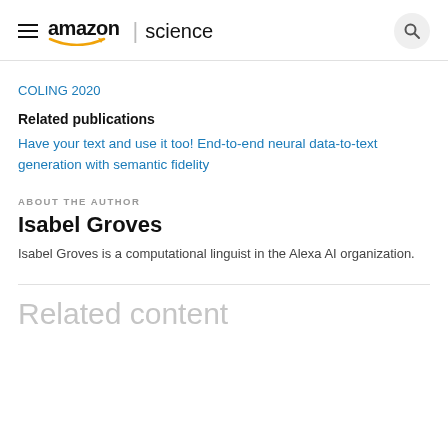amazon | science
COLING 2020
Related publications
Have your text and use it too! End-to-end neural data-to-text generation with semantic fidelity
ABOUT THE AUTHOR
Isabel Groves
Isabel Groves is a computational linguist in the Alexa AI organization.
Related content